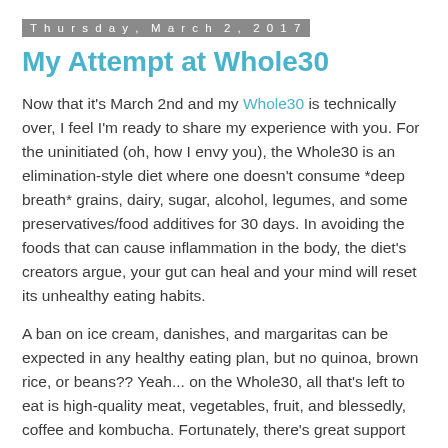Thursday, March 2, 2017
My Attempt at Whole30
Now that it's March 2nd and my Whole30 is technically over, I feel I'm ready to share my experience with you. For the uninitiated (oh, how I envy you), the Whole30 is an elimination-style diet where one doesn't consume *deep breath* grains, dairy, sugar, alcohol, legumes, and some preservatives/food additives for 30 days. In avoiding the foods that can cause inflammation in the body, the diet's creators argue, your gut can heal and your mind will reset its unhealthy eating habits.
A ban on ice cream, danishes, and margaritas can be expected in any healthy eating plan, but no quinoa, brown rice, or beans?? Yeah... on the Whole30, all that's left to eat is high-quality meat, vegetables, fruit, and blessedly, coffee and kombucha. Fortunately, there's great support online and in branded cookbooks to help with recipes, meal plans, and shopping lists.